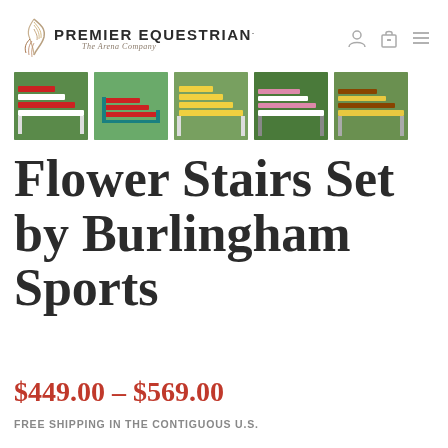PREMIER EQUESTRIAN. The Arena Company
[Figure (photo): Five thumbnail images of equestrian flower stair jump sets in various color combinations on grass]
Flower Stairs Set by Burlingham Sports
$449.00 – $569.00
FREE SHIPPING IN THE CONTIGUOUS U.S.